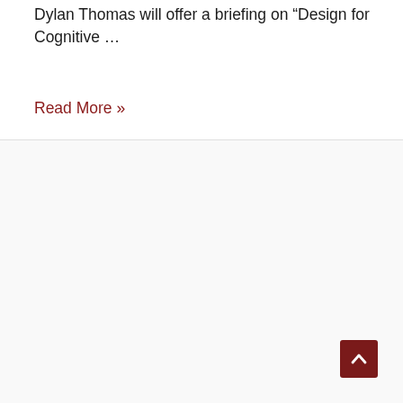Dylan Thomas will offer a briefing on “Design for Cognitive …
Read More »
[Figure (other): Back to top button: dark red square button with upward chevron arrow]